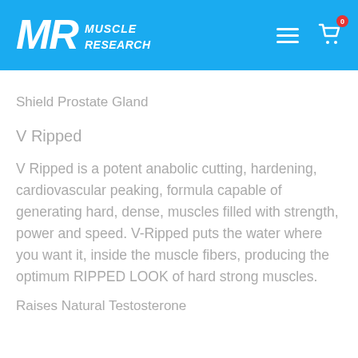Muscle Research
Shield Prostate Gland
V Ripped
V Ripped is a potent anabolic cutting, hardening, cardiovascular peaking, formula capable of generating hard, dense, muscles filled with strength, power and speed. V-Ripped puts the water where you want it, inside the muscle fibers, producing the optimum RIPPED LOOK of hard strong muscles.
Raises Natural Testosterone